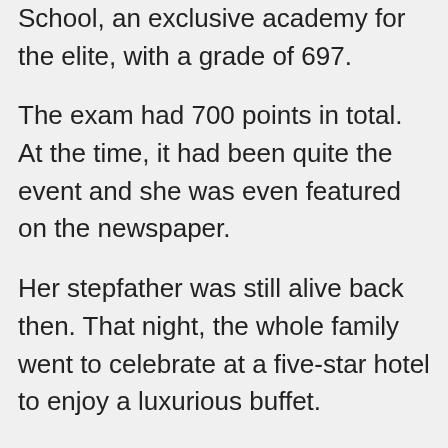School, an exclusive academy for the elite, with a grade of 697.
The exam had 700 points in total. At the time, it had been quite the event and she was even featured on the newspaper.
Her stepfather was still alive back then. That night, the whole family went to celebrate at a five-star hotel to enjoy a luxurious buffet.
Now, everything was different...
If she didn't date Qin Chu, she wouldn't have incurred the wrath of the Qin Family, and her stepfather wouldn't have been killed.